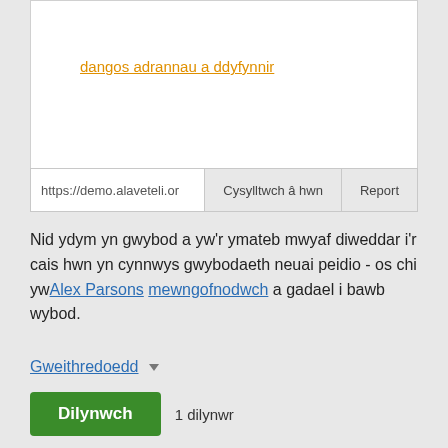dangos adrannau a ddyfynnir
https://demo.alaveteli.or
Cysylltwch â hwn
Report
Nid ydym yn gwybod a yw'r ymateb mwyaf diweddar i'r cais hwn yn cynnwys gwybodaeth neuai peidio - os chi yw Alex Parsons mewngofnodwch a gadael i bawb wybod.
Gweithredoedd
Dilynwch
1 dilynwr